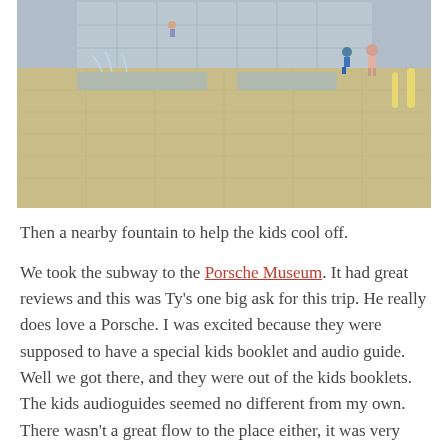[Figure (photo): Outdoor plaza with water fountains, large paved tile area, people including children playing near water features, modern building facade in background]
Then a nearby fountain to help the kids cool off.
We took the subway to the Porsche Museum. It had great reviews and this was Ty's one big ask for this trip. He really does love a Porsche. I was excited because they were supposed to have a special kids booklet and audio guide. Well we got there, and they were out of the kids booklets. The kids audioguides seemed no different from my own. There wasn't a great flow to the place either, it was very much just a wander around and look, no touching. Ryder got hit with the sickness exhaustion